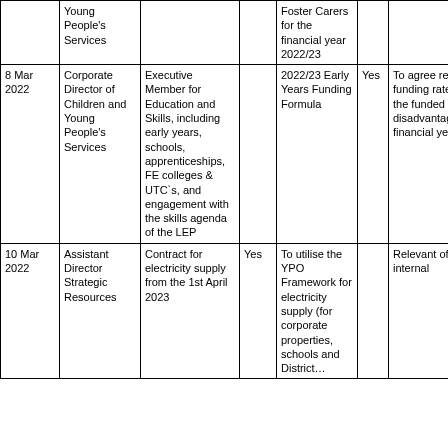| Date | Director | Executive Member | Conf? | Subject | Consult? | Purpose/Decision | Who consulted | Not applicable |
| --- | --- | --- | --- | --- | --- | --- | --- | --- |
|  | Young People's Services |  |  | Foster Carers for the financial year 2022/23 |  |  |  |  |
| 8 Mar 2022 | Corporate Director of Children and Young People's Services | Executive Member for Education and Skills, including early years, schools, apprenticeships, FE colleges & UTC`s, and engagement with the skills agenda of the LEP |  | 2022/23 Early Years Funding Formula | Yes | To agree recommendations to change the funding rates paid to early years' providers for the funded entitlement for 3 & 4 year olds and disadvantaged 2 year olds for the 2022/23 financial year. |  |  |
| 10 Mar 2022 | Assistant Director Strategic Resources |  | Yes | Contract for electricity supply from the 1st April 2023 |  | To utilise the YPO Framework for electricity supply (for corporate properties, schools and District… | Relevant officers - internal | Not applicable |